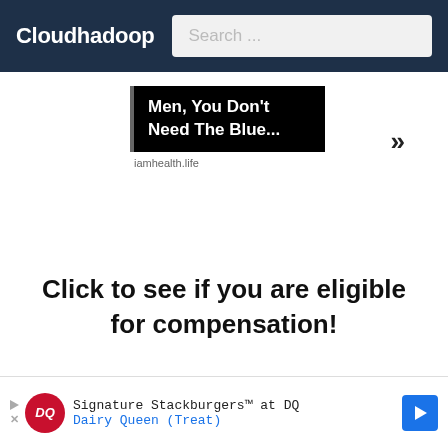Cloudhadoop
[Figure (screenshot): Advertisement banner: 'Men, You Don't Need The Blue...' from iamhealth.life with chevron arrows]
Click to see if you are eligible for compensation!
[Figure (screenshot): Dairy Queen ad: Signature Stackburgers™ at DQ - Dairy Queen (Treat)]